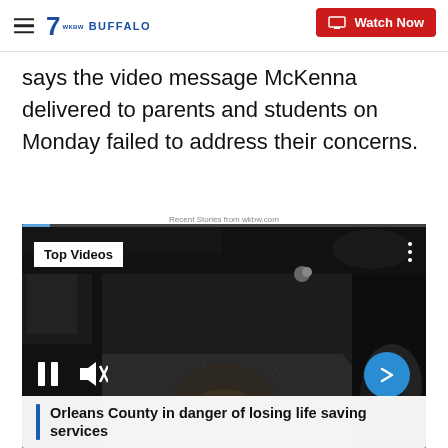7 BUFFALO | Watch Now
says the video message McKenna delivered to parents and students on Monday failed to address their concerns.
Recent Stories from wkbw.com
[Figure (screenshot): Video player showing dark garage/truck interior with 'Top Videos' label in top left, playback controls (pause, mute) at bottom left, next arrow button at bottom right, and video caption bar reading 'Orleans County in danger of losing life saving services']
Orleans County in danger of losing life saving services